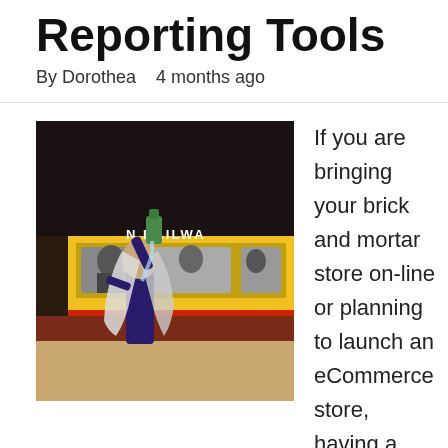Reporting Tools
By Dorothea   4 months ago
[Figure (photo): A person at a railway platform station pouring liquid over their head, with a yellow train in the background showing partial text 'N RAILWA']
If you are bringing your brick and mortar store on-line or planning to launch an eCommerce store, having a advertising strategy in place would